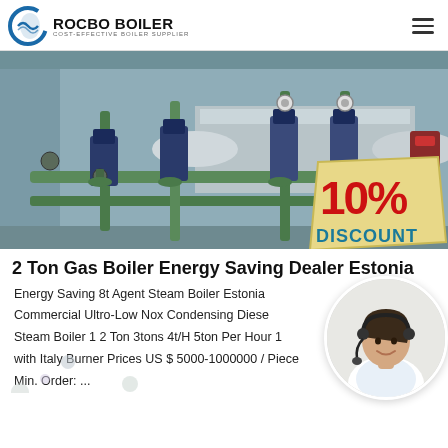ROCBO BOILER — COST-EFFECTIVE BOILER SUPPLIER
[Figure (photo): Industrial gas boiler system with pumps, pipes, valves and gauges in a facility. Overlay badge reads '10% DISCOUNT'.]
2 Ton Gas Boiler Energy Saving Dealer Estonia
Energy Saving 8t Agent Steam Boiler Estonia Commercial Ultro-Low Nox Condensing Diese Steam Boiler 1 2 Ton 3tons 4t/H 5ton Per Hour 1 with Italy Burner Prices US $ 5000-1000000 / Piece Min. Order: ...